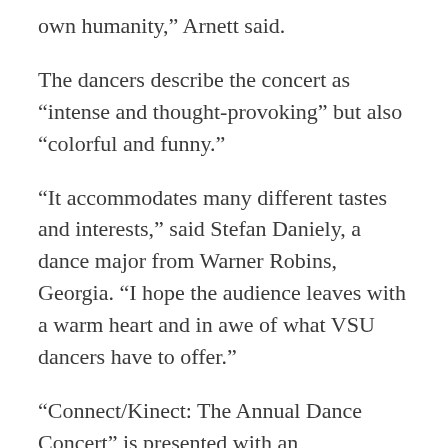own humanity,” Arnett said.
The dancers describe the concert as “intense and thought-provoking” but also “colorful and funny.”
“It accommodates many different tastes and interests,” said Stefan Daniely, a dance major from Warner Robins, Georgia. “I hope the audience leaves with a warm heart and in awe of what VSU dancers have to offer.”
“Connect/Kinect: The Annual Dance Concert” is presented with an intermission. Performances will be held at 7:30 p.m. Thursday, Oct. 12,